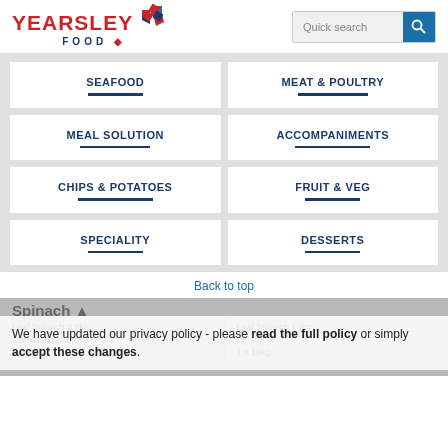[Figure (logo): Yearsley Food logo with red text and diamond icon]
[Figure (screenshot): Quick search bar with blue search button]
SEAFOOD
MEAT & POULTRY
MEAL SOLUTION
ACCOMPANIMENTS
CHIPS & POTATOES
FRUIT & VEG
SPECIALITY
DESSERTS
Back to top
Leaf Spinach 2.5kg
Cream of the crop
4 x 2.5kg
Leaf Spinach 10kg
1 x 10kg
We have updated our privacy policy - please read the full policy or simply accept these changes.